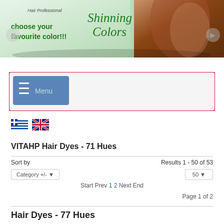[Figure (screenshot): Hair product banner with green italic text 'Shinning Colors', bold green text 'choose your favourite color!!!', 'Hair Professional' label, woman with auburn hair on right side]
[Figure (screenshot): Navigation menu bar with crimson border, blue hamburger menu button labeled 'Menu']
[Figure (screenshot): Greek flag and UK flag icons as language selectors]
VITAHP Hair Dyes - 71 Hues
Sort by
Results 1 - 50 of 53
Category +/-
50
Start Prev 1 2 Next End
Page 1 of 2
Hair Dyes - 77 Hues